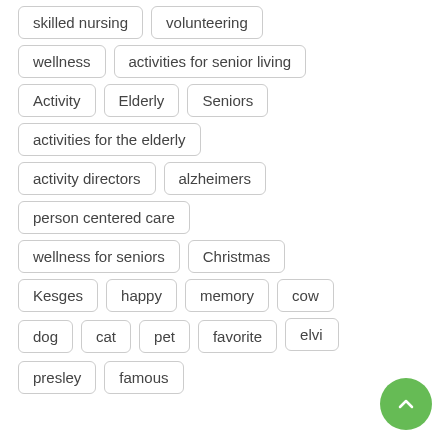skilled nursing
volunteering
wellness
activities for senior living
Activity
Elderly
Seniors
activities for the elderly
activity directors
alzheimers
person centered care
wellness for seniors
Christmas
Kesges
happy
memory
cow
dog
cat
pet
favorite
elvis
presley
famous